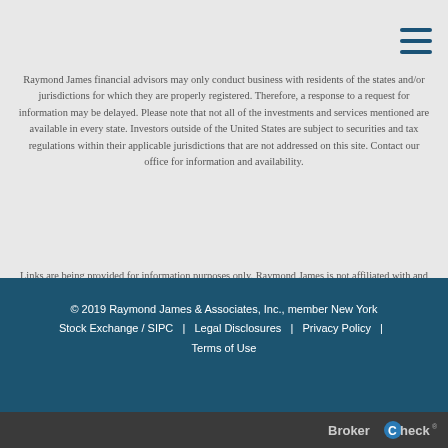Raymond James financial advisors may only conduct business with residents of the states and/or jurisdictions for which they are properly registered. Therefore, a response to a request for information may be delayed. Please note that not all of the investments and services mentioned are available in every state. Investors outside of the United States are subject to securities and tax regulations within their applicable jurisdictions that are not addressed on this site. Contact our office for information and availability.
Links are being provided for information purposes only. Raymond James is not affiliated with and does not endorse, authorize or sponsor any of the listed websites or their respective sponsors. Raymond James is not responsible for the content of any website or the collection or use of information regarding any website's users and/or members.
© 2019 Raymond James & Associates, Inc., member New York Stock Exchange / SIPC  |  Legal Disclosures  |  Privacy Policy  |  Terms of Use